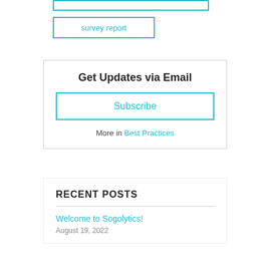survey report
Get Updates via Email
Subscribe
More in Best Practices
RECENT POSTS
Welcome to Sogolytics!
August 19, 2022